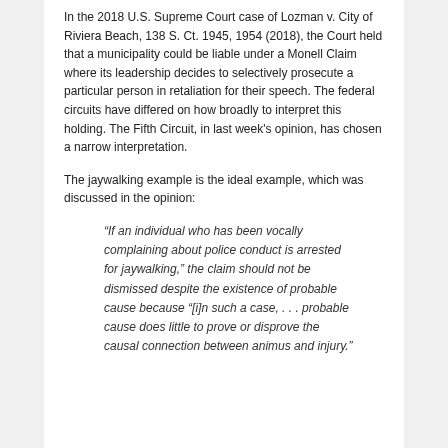In the 2018 U.S. Supreme Court case of Lozman v. City of Riviera Beach, 138 S. Ct. 1945, 1954 (2018), the Court held that a municipality could be liable under a Monell Claim where its leadership decides to selectively prosecute a particular person in retaliation for their speech. The federal circuits have differed on how broadly to interpret this holding. The Fifth Circuit, in last week's opinion, has chosen a narrow interpretation.
The jaywalking example is the ideal example, which was discussed in the opinion:
“If an individual who has been vocally complaining about police conduct is arrested for jaywalking,” the claim should not be dismissed despite the existence of probable cause because “[i]n such a case, . . . probable cause does little to prove or disprove the causal connection between animus and injury.”